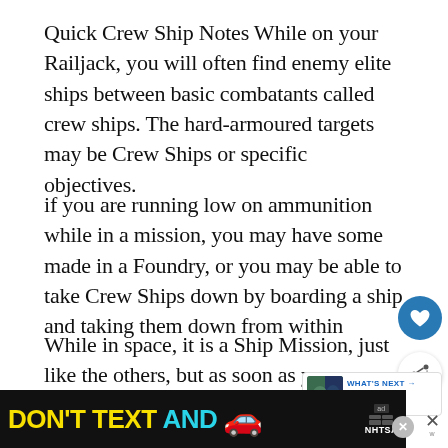Quick Crew Ship Notes While on your Railjack, you will often find enemy elite ships between basic combatants called crew ships. The hard-armoured targets may be Crew Ships or specific objectives.
if you are running low on ammunition while in a mission, you may have some made in a Foundry, or you may be able to take Crew Ships down by boarding a ship and taking them down from within
While in space, it is a Ship Mission, just like the others, but as soon as you are standing on the ground within a Target Station, you notic approach the objective that you are knocked off of y...
[Figure (screenshot): Advertisement banner: 'DON'T TEXT AND [car emoji]' with ad badge and NHTSA logo]